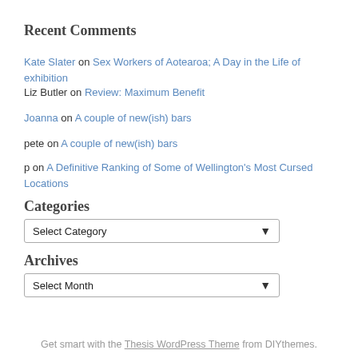Recent Comments
Kate Slater on Sex Workers of Aotearoa; A Day in the Life of exhibition
Liz Butler on Review: Maximum Benefit
Joanna on A couple of new(ish) bars
pete on A couple of new(ish) bars
p on A Definitive Ranking of Some of Wellington's Most Cursed Locations
Categories
Select Category
Archives
Select Month
Get smart with the Thesis WordPress Theme from DIYthemes.